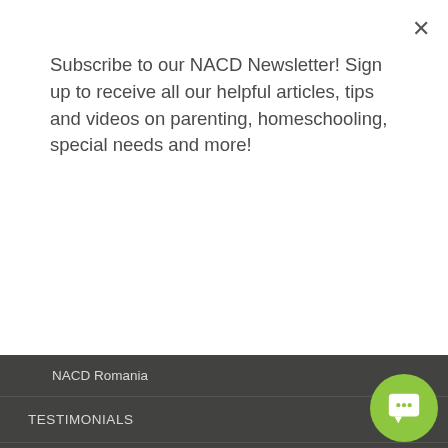Subscribe to our NACD Newsletter! Sign up to receive all our helpful articles, tips and videos on parenting, homeschooling, special needs and more!
Subscribe
NACD Romania
TESTIMONIALS
Videos
Evaluation Calendar
Privacy Policy
SIGN UP HERE! NACD Newsletter
NACD Store